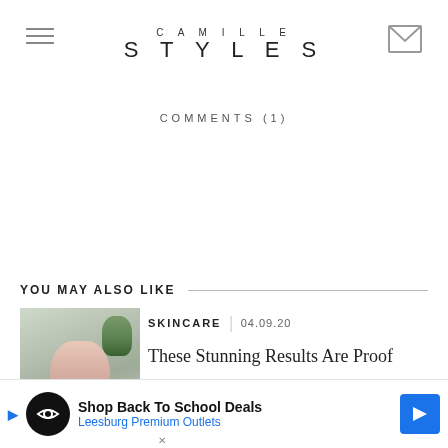CAMILLE STYLES
COMMENTS (1)
YOU MAY ALSO LIKE
[Figure (photo): Thumbnail photo of a woman in a pink top sitting in a bright interior with plants]
SKINCARE | 04.09.20
These Stunning Results Are Proof
[Figure (infographic): Advertisement banner: Shop Back To School Deals — Leesburg Premium Outlets]